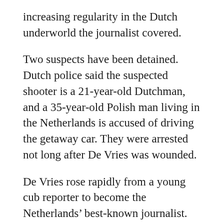increasing regularity in the Dutch underworld the journalist covered.
Two suspects have been detained. Dutch police said the suspected shooter is a 21-year-old Dutchman, and a 35-year-old Polish man living in the Netherlands is accused of driving the getaway car. They were arrested not long after De Vries was wounded.
De Vries rose rapidly from a young cub reporter to become the Netherlands’ best-known journalist. He was a pillar of support for families of slain or missing children, a campaigner against injustice and a thorn in the side of gangsters.
“Peter has lived by his conviction: ‘On bended knee is